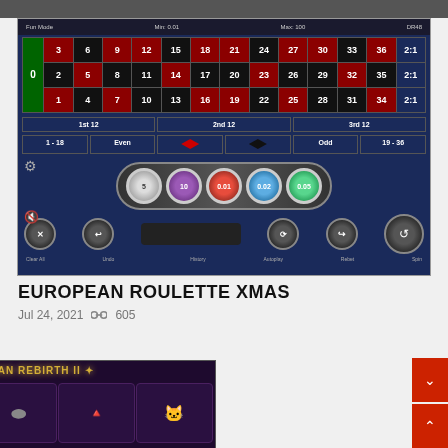[Figure (screenshot): European Roulette XMAS game screenshot showing roulette betting table with numbers 0-36, betting options (1st 12, 2nd 12, 3rd 12, 1-18, Even, Odd, 19-36), chips (5, 10, 0.01, 0.02, 0.05), and game controls (Clear All, Undo, History, Autoplay, Rebet, Spin)]
EUROPEAN ROULETTE XMAS
Jul 24, 2021  605
[Figure (screenshot): Egyptian Rebirth II slot game screenshot showing 50 lines slot with Egyptian themed symbols including Cleopatra, letter A, ring, pyramid, and black cat on a dark purple background]